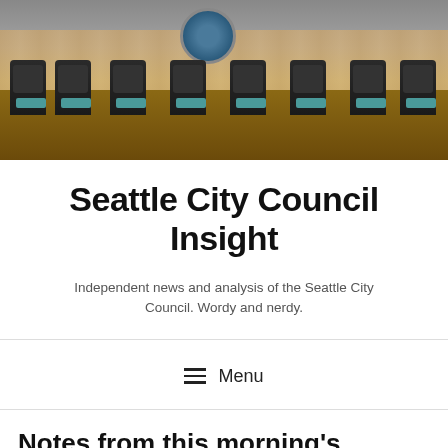[Figure (photo): Photo of Seattle City Council chamber showing empty council dais with black chairs, teal nameplates, wood paneling, and a city seal on the wall]
Seattle City Council Insight
Independent news and analysis of the Seattle City Council. Wordy and nerdy.
Menu
Notes from this morning's Council